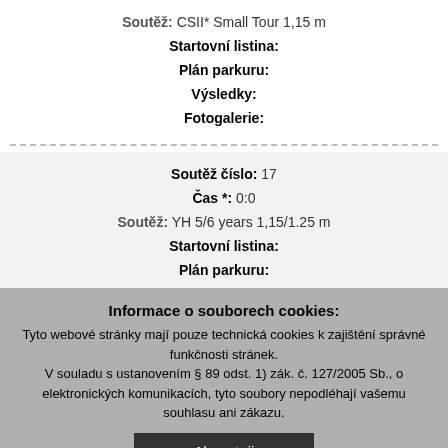Soutěž: CSII* Small Tour 1,15 m
Startovní listina:
Plán parkuru:
Výsledky:
Fotogalerie:
Soutěž číslo: 17
Čas *: 0:0
Soutěž: YH 5/6 years 1,15/1.25 m
Startovní listina:
Plán parkuru:
Informace o souborech cookies: Tyto webové stránky mají pouze technická cookies k zajištění správné funkčnosti stránek. V souladu s ustanovením § 89 odst. 1) zák. č. 127/2005 Sb., o elektronických komunikacích, tyto soubory nepodléhají vašemu souhlasu ani zákazu.
Akceptuji